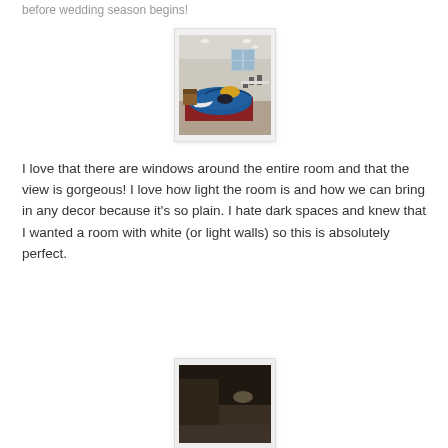before wedding season begins!
[Figure (photo): Interior hall room with blue tarp/inflatable material piled on a red mat on a wooden floor, white walls, windows in background, chairs and tables visible]
I love that there are windows around the entire room and that the view is gorgeous! I love how light the room is and how we can bring in any decor because it's so plain. I hate dark spaces and knew that I wanted a room with white (or light walls) so this is absolutely perfect.
[Figure (photo): Dark interior room, dimly lit with brownish walls, partial view of ceiling]